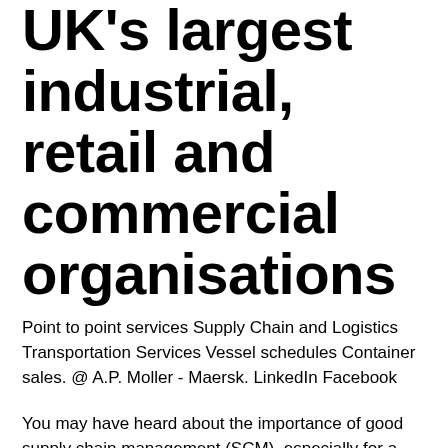UK's largest industrial, retail and commercial organisations
Point to point services Supply Chain and Logistics Transportation Services Vessel schedules Container sales. @ A.P. Moller - Maersk. LinkedIn Facebook
You may have heard about the importance of good supply chain management (SCM), especially for a multi-national firm. But what does this frequently used term mean? Below, you'll find a definition and